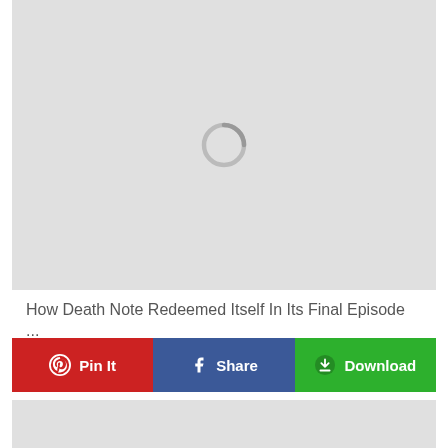[Figure (other): Large gray placeholder image with a spinning/loading circle indicator in the upper center area]
How Death Note Redeemed Itself In Its Final Episode ...
[Figure (infographic): Three action buttons in a row: red 'Pin It' button with Pinterest logo, blue 'Share' button with Facebook logo, green 'Download' button with download icon]
[Figure (other): Partial gray placeholder image at the bottom of the page]